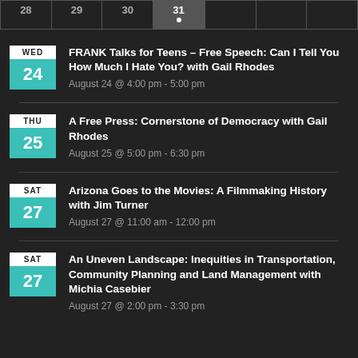[Figure (other): Calendar strip showing dates 28, 29, 30, 31 (with dot indicator), and two more empty cells]
FRANK Talks for Teens – Free Speech: Can I Tell You How Much I Hate You? with Gail Rhodes
August 24 @ 4:00 pm - 5:00 pm
A Free Press: Cornerstone of Democracy with Gail Rhodes
August 25 @ 5:00 pm - 6:30 pm
Arizona Goes to the Movies: A Filmmaking History with Jim Turner
August 27 @ 11:00 am - 12:00 pm
An Uneven Landscape: Inequities in Transportation, Community Planning and Land Management with Michia Casebier
August 27 @ 2:00 pm - 3:30 pm